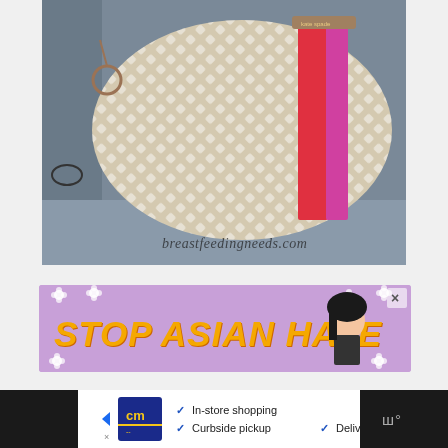[Figure (photo): A designer handbag (Kate Spade style) with white/beige diamond pattern and red/pink vertical stripe, sitting on a gray car seat. Photo watermarked with breastfeedingneeds.com in cursive script.]
[Figure (photo): Advertisement banner with purple/lavender background, white flowers, anime-style character, and bold yellow/orange text reading STOP ASIAN HATE with a close button (X) in the top right corner.]
[Figure (screenshot): Bottom advertisement bar showing a dark background on the sides with a white center section. White section contains a blue CM logo, checkmarks next to In-store shopping, Curbside pickup, and Delivery text, a blue navigation/directions icon. Right dark section shows weather app icon with temperature symbol.]